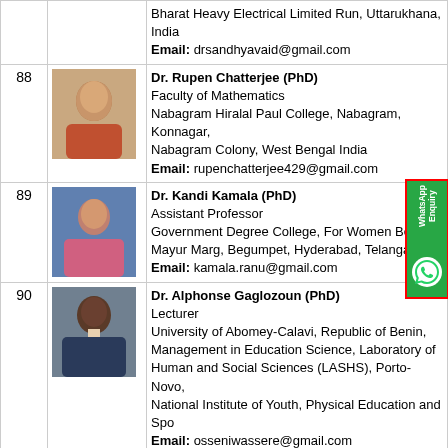| # | Photo | Info |
| --- | --- | --- |
|  |  | Bharat Heavy Electrical Limited Run, Uttarukhana, India
Email: drsandhyavaid@gmail.com |
| 88 | [photo] | Dr. Rupen Chatterjee (PhD)
Faculty of Mathematics
Nabagram Hiralal Paul College, Nabagram, Konnagar,
Nabagram Colony, West Bengal India
Email: rupenchatterjee429@gmail.com |
| 89 | [photo] | Dr. Kandi Kamala (PhD)
Assistant Professor
Government Degree College, For Women Begu...
Mayur Marg, Begumpet, Hyderabad, Telangana...
Email: kamala.ranu@gmail.com |
| 90 | [photo] | Dr. Alphonse Gaglozoun (PhD)
Lecturer
University of Abomey-Calavi, Republic of Benin,
Management in Education Science, Laboratory of
Human and Social Sciences (LASHS), Porto-Novo,
National Institute of Youth, Physical Education and Spo...
Email: osseniwassere@gmail.com |
| 91 | [photo] | Dr Gedam Kamalakar (PhD)
Researcher
Osmania University, Amberpet, Hyderabad, Telangana, |